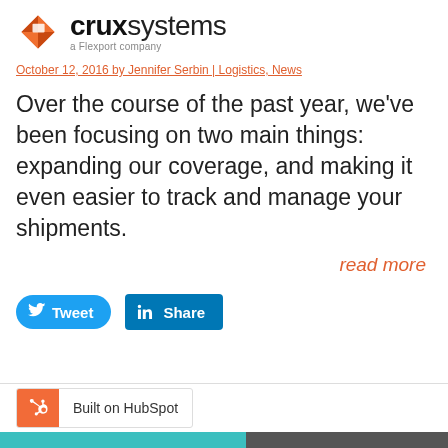[Figure (logo): Crux Systems logo — orange diamond/cube icon with 'crux systems' text and 'a Flexport company' subtitle]
October 12, 2016 by Jennifer Serbin | Logistics, News
Over the course of the past year, we've been focusing on two main things: expanding our coverage, and making it even easier to track and manage your shipments.
read more
[Figure (screenshot): Social sharing buttons: Tweet (Twitter blue) and Share (LinkedIn blue)]
Built on HubSpot